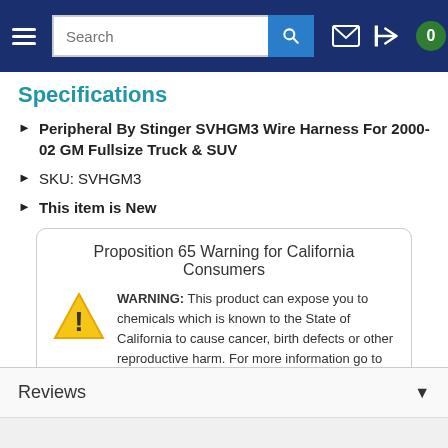Navigation bar with hamburger menu, search, mail, login, and cart (0)
Specifications
Peripheral By Stinger SVHGM3 Wire Harness For 2000-02 GM Fullsize Truck & SUV
SKU: SVHGM3
This item is New
Proposition 65 Warning for California Consumers
WARNING: This product can expose you to chemicals which is known to the State of California to cause cancer, birth defects or other reproductive harm. For more information go to www.P65Warnings.ca.gov.
Reviews